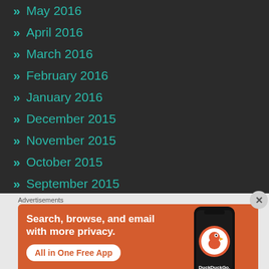» May 2016
» April 2016
» March 2016
» February 2016
» January 2016
» December 2015
» November 2015
» October 2015
» September 2015
» August 2015
» July 2015
Advertisements
[Figure (other): DuckDuckGo advertisement banner with orange background showing 'Search, browse, and email with more privacy. All in One Free App' with a phone graphic displaying the DuckDuckGo logo]